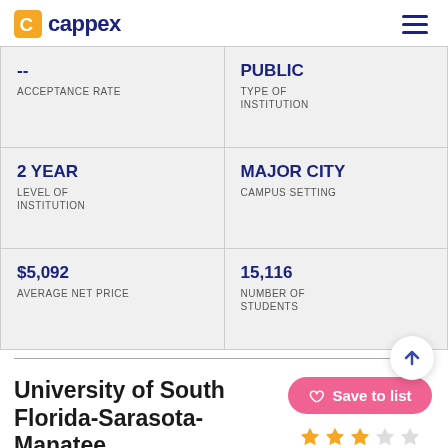cappex
| --
ACCEPTANCE RATE | PUBLIC
TYPE OF INSTITUTION |
| 2 YEAR
LEVEL OF INSTITUTION | MAJOR CITY
CAMPUS SETTING |
| $5,092
AVERAGE NET PRICE | 15,116
NUMBER OF STUDENTS |
University of South Florida-Sarasota-Manatee